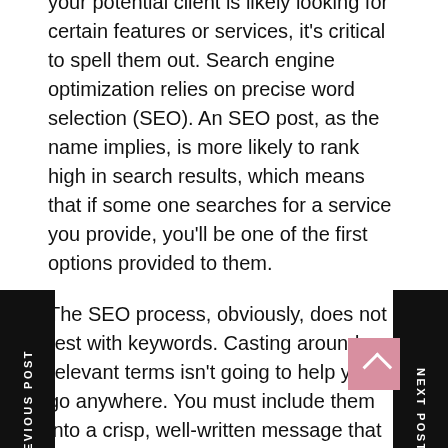your potential client is likely looking for certain features or services, it's critical to spell them out. Search engine optimization relies on precise word selection (SEO). An SEO post, as the name implies, is more likely to rank high in search results, which means that if some one searches for a service you provide, you'll be one of the first options provided to them.
The SEO process, obviously, does not rest with keywords. Casting around relevant terms isn't going to help you go anywhere. You must include them into a crisp, well-written message that will attract the target audience.
Furthermore, you must keep an eye out for improvements in search engine algorithms. These algorithms are exceedingly difficult to